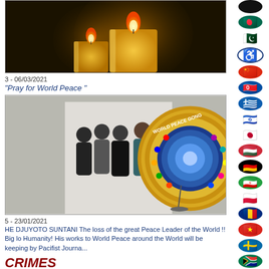[Figure (photo): Two lit candles glowing against a dark background]
3 - 06/03/2021
“Pray for World Peace ”
[Figure (photo): Group of people standing next to a large decorative World Peace Gong]
5 - 23/01/2021
HE DJUYOTO SUNTANI The loss of the great Peace Leader of the World !! Big lo...o Humanity! His works to World Peace around the World will be keeping by Pacifist Journa...
CRIMES